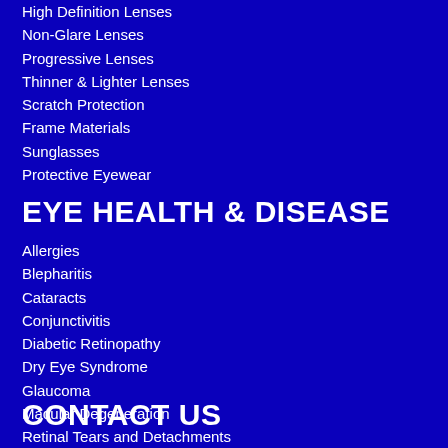High Definition Lenses
Non-Glare Lenses
Progressive Lenses
Thinner & Lighter Lenses
Scratch Protection
Frame Materials
Sunglasses
Protective Eyewear
EYE HEALTH & DISEASE
Allergies
Blepharitis
Cataracts
Conjunctivitis
Diabetic Retinopathy
Dry Eye Syndrome
Glaucoma
Macular Degeneration
Retinal Tears and Detachments
CONTACT US